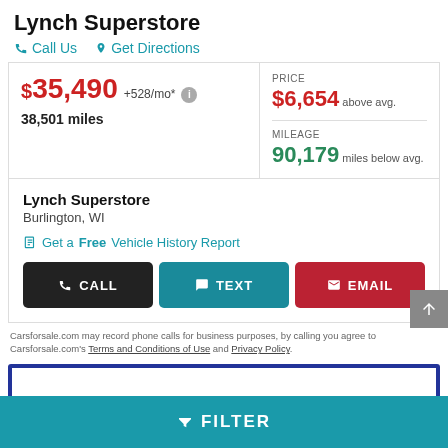Lynch Superstore
Call Us   Get Directions
$35,490  +528/mo*   38,501 miles
PRICE $6,654 above avg.
MILEAGE 90,179 miles below avg.
Lynch Superstore
Burlington, WI
Get a Free Vehicle History Report
CALL   TEXT   EMAIL
Carsforsale.com may record phone calls for business purposes, by calling you agree to Carsforsale.com's Terms and Conditions of Use and Privacy Policy.
▼ FILTER